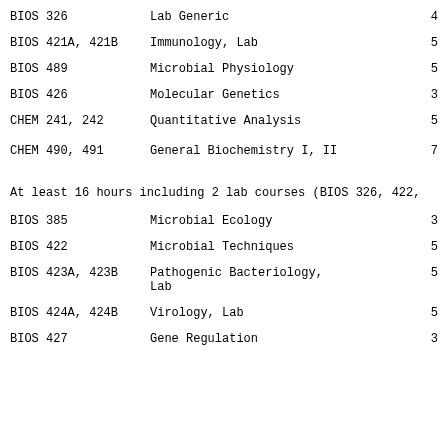BIOS 326    Lab Generic    4
BIOS 421A, 421B    Immunology, Lab    5
BIOS 489    Microbial Physiology    5
BIOS 426    Molecular Genetics    3
CHEM 241, 242    Quantitative Analysis    5
CHEM 490, 491    General Biochemistry I, II    7
At least 16 hours including 2 lab courses (BIOS 326, 422,
BIOS 385    Microbial Ecology    3
BIOS 422    Microbial Techniques    5
BIOS 423A, 423B    Pathogenic Bacteriology, Lab    5
BIOS 424A, 424B    Virology, Lab    5
BIOS 427    Gene Regulation    3